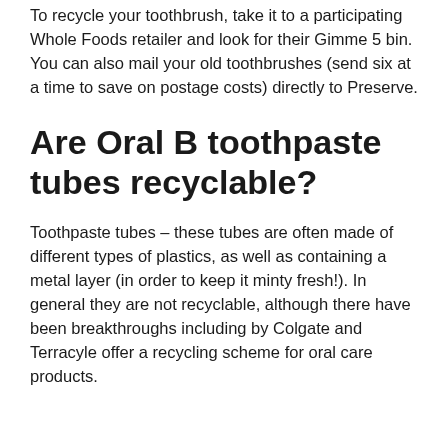To recycle your toothbrush, take it to a participating Whole Foods retailer and look for their Gimme 5 bin. You can also mail your old toothbrushes (send six at a time to save on postage costs) directly to Preserve.
Are Oral B toothpaste tubes recyclable?
Toothpaste tubes – these tubes are often made of different types of plastics, as well as containing a metal layer (in order to keep it minty fresh!). In general they are not recyclable, although there have been breakthroughs including by Colgate and Terracyle offer a recycling scheme for oral care products.